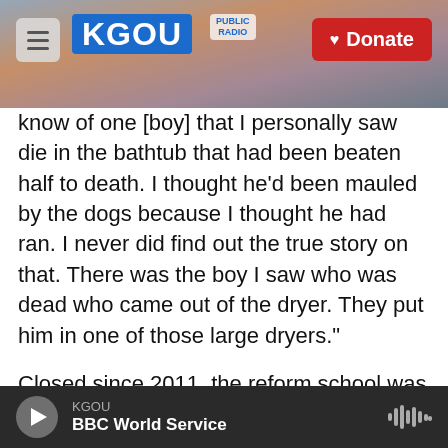[Figure (screenshot): KGOU public radio website header with hamburger menu, KGOU logo in blue, city skyline photo background, and red Donate button]
know of one [boy] that I personally saw die in the bathtub that had been beaten half to death. I thought he'd been mauled by the dogs because I thought he had ran. I never did find out the true story on that. There was the boy I saw who was dead who came out of the dryer. They put him in one of those large dryers."
Closed since 2011, the reform school was located in the small panhandle town of Marianna, Fla., and served as a bleak destination for troublemakers, rule breakers and delinquents. In the 1900s, hundreds of boys were sent to the school — some
KGOU  BBC World Service